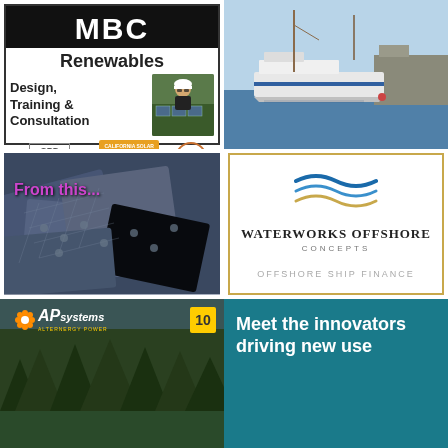[Figure (logo): MBC Renewables advertisement with logo, 'Design, Training & Consultation' text, person in hard hat photo, CPD Member, California Solar + Storage Association, and NABCEP badges]
[Figure (photo): Photo of sailboats and a vessel docked at a marina with blue sky and water]
[Figure (photo): Photo of discarded or bundled solar panels with text 'From this...' overlaid in purple]
[Figure (logo): Waterworks Offshore Concepts advertisement with wave logo, company name, and 'Offshore Ship Finance' tagline, gold border]
[Figure (logo): APsystems Alternergy Power advertisement with orange flower logo on forest background with yellow '10' badge]
[Figure (infographic): Teal background with white text 'Meet the innovators driving new use']